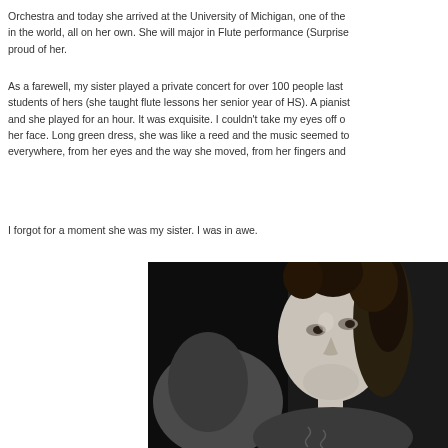Orchestra and today she arrived at the University of Michigan, one of the in the world, all on her own. She will major in Flute performance (Surprise proud of her.
As a farewell, my sister played a private concert for over 100 people last students of hers (she taught flute lessons her senior year of HS). A pianist and she played for an hour. It was exquisite. I couldn't take my eyes off o her face. Long green dress, she was like a reed and the music seemed to everywhere, from her eyes and the way she moved, from her fingers and
I forgot for a moment she was my sister. I was in awe.
[Figure (photo): Black and white photograph of a young woman with curly dark hair, looking upward and to the side. She appears to be indoors in a dimly lit setting.]